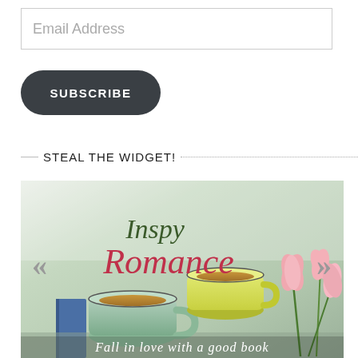Email Address
SUBSCRIBE
STEAL THE WIDGET!
[Figure (illustration): Inspy Romance widget banner showing two mugs of tea (one mint green, one yellow) on a book beside pink flowers, with text 'Inspy Romance' and 'Fall in love with a good book'. Navigation arrows on left and right.]